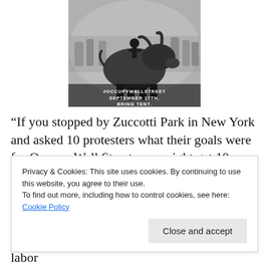[Figure (photo): Black and white photo of the Charging Bull sculpture on Wall Street with protesters in the background. Text overlay reads '#OCCUPYWALLSTREET / SEPTEMBER 17TH. / BRING TENT.']
“If you stopped by Zuccotti Park in New York and asked 10 protesters what their goals were for Occupy Wall Street, you might get 10 different answers…One protester said he
Privacy & Cookies: This site uses cookies. By continuing to use this website, you agree to their use.
To find out more, including how to control cookies, see here: Cookie Policy
government and reconstruct it.”  Now we have labor